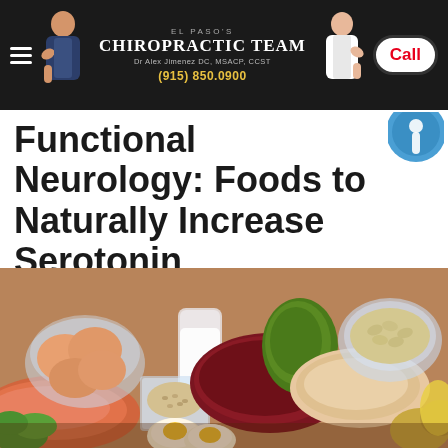El Paso's Chiropractic Team | Dr Alex Jimenez DC, MSACP, CCST | (915) 850.0900 | Call
Functional Neurology: Foods to Naturally Increase Serotonin
[Figure (photo): Assorted protein-rich foods on a wooden surface including eggs in a bowl, salmon fillet, red meat, chicken breast, a glass of milk, seeds in a container, avocado/green pepper, a bowl of beans/nuts, green vegetables, and hard-boiled egg slices.]